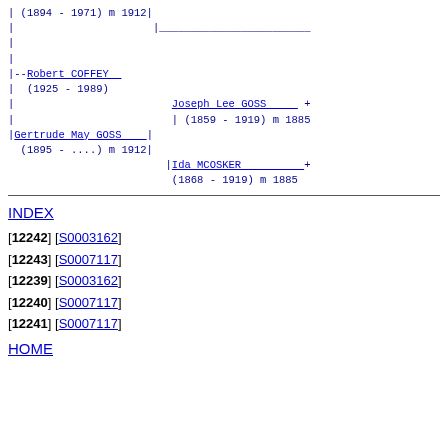| (1894 - 1971) m 1912|
|
|
|
|--Robert COFFEY
|  (1925 - 1989)
|                          Joseph Lee GOSS      +
|                         | (1859 - 1919) m 1885
| Gertrude May GOSS    |
  (1895 - ....) m 1912|
                         | Ida MCOSKER          +
                          (1868 - 1919) m 1885
INDEX
[12242] [S0003162]
[12243] [S0007117]
[12239] [S0003162]
[12240] [S0007117]
[12241] [S0007117]
HOME